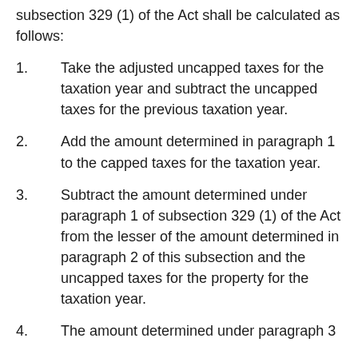subsection 329 (1) of the Act shall be calculated as follows:
1. Take the adjusted uncapped taxes for the taxation year and subtract the uncapped taxes for the previous taxation year.
2. Add the amount determined in paragraph 1 to the capped taxes for the taxation year.
3. Subtract the amount determined under paragraph 1 of subsection 329 (1) of the Act from the lesser of the amount determined in paragraph 2 of this subsection and the uncapped taxes for the property for the taxation year.
4. The amount determined under paragraph 3